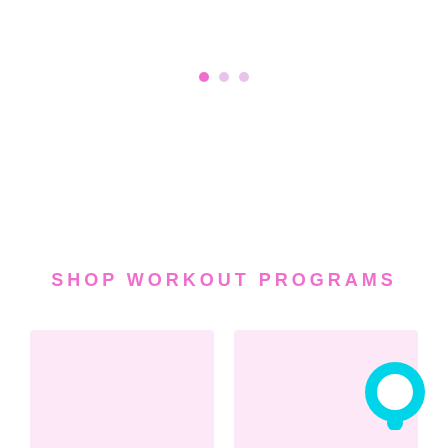[Figure (other): Three pagination dots: one filled pink (active) and two lighter pink (inactive)]
SHOP WORKOUT PROGRAMS
[Figure (other): Product image placeholder — soft pink rectangle for Full Body Challenge 1 & 2 Home & Gym]
Full Body Challenge 1 & 2 Home & Gym
$60.00 $80.00
[Figure (other): Product image placeholder — soft pink rectangle for Full Body Challenge]
Full Body Challenge
$40.00
[Figure (other): Cyan/turquoise circular chat bubble icon in bottom-right corner]